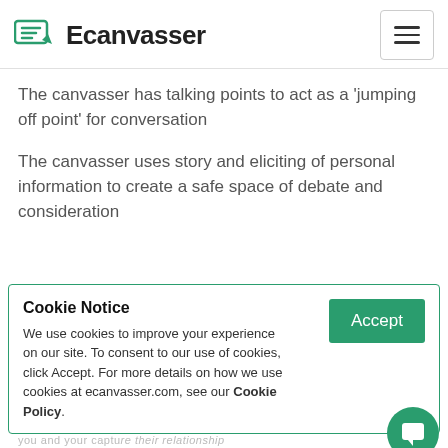Ecanvasser
The canvasser has talking points to act as a 'jumping off point' for conversation
The canvasser uses story and eliciting of personal information to create a safe space of debate and consideration
Cookie Notice
We use cookies to improve your experience on our site. To consent to our use of cookies, click Accept. For more details on how we use cookies at ecanvasser.com, see our Cookie Policy.